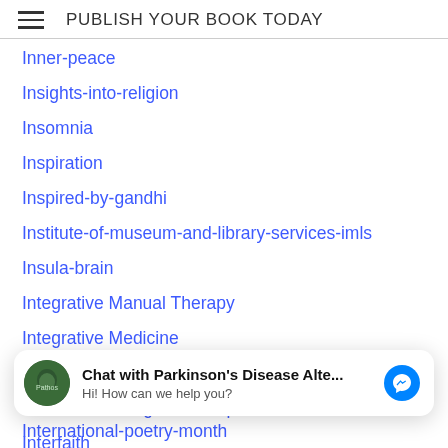PUBLISH YOUR BOOK TODAY
Inner-peace
Insights-into-religion
Insomnia
Inspiration
Inspired-by-gandhi
Institute-of-museum-and-library-services-imls
Insula-brain
Integrative Manual Therapy
Integrative Medicine
Intention
Intention Writting Workshop
Interfaith
International Day Of The African Child
[Figure (screenshot): Chat popup: Chat with Parkinson's Disease Alte... / Hi! How can we help you? with Messenger icon]
International-poetry-month